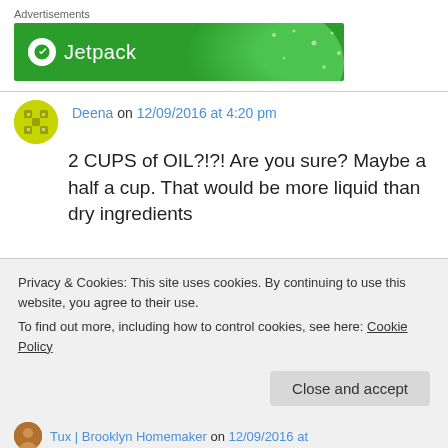Advertisements
[Figure (screenshot): Jetpack green banner advertisement with Jetpack logo and name in white on green background]
Deena on 12/09/2016 at 4:20 pm
2 CUPS of OIL?!?! Are you sure? Maybe a half a cup. That would be more liquid than dry ingredients
Privacy & Cookies: This site uses cookies. By continuing to use this website, you agree to their use.
To find out more, including how to control cookies, see here: Cookie Policy
Close and accept
Tux | Brooklyn Homemaker on 12/09/2016 at